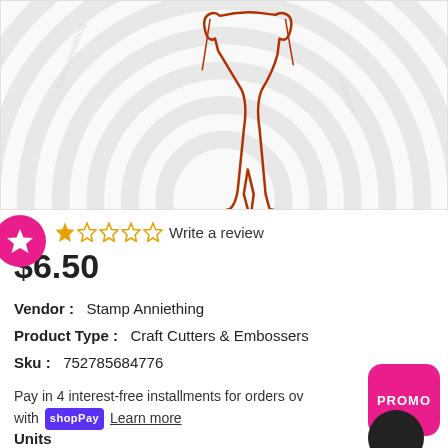[Figure (photo): Product image of a craft cutter/embosser die showing a bride figure outline in orange/brown on a white background with concentric circle swirl pattern]
★ ☆ ☆ ☆ ☆ Write a review
$6.50
Vendor :   Stamp Anniething
Product Type :   Craft Cutters & Embossers
Sku :   752785684776
Pay in 4 interest-free installments for orders over with shop Pay  Learn more
Units